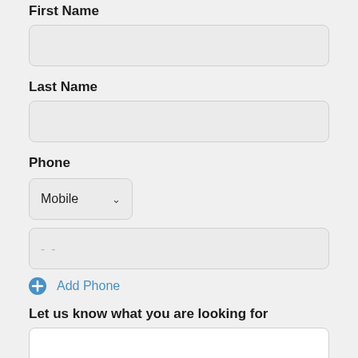First Name
[Figure (other): Empty text input field for First Name]
Last Name
[Figure (other): Empty text input field for Last Name]
Phone
[Figure (other): Dropdown selector showing 'Mobile' with chevron]
[Figure (other): Empty phone number input field with placeholder dashes]
Add Phone
Let us know what you are looking for
[Figure (other): Empty textarea for user input]